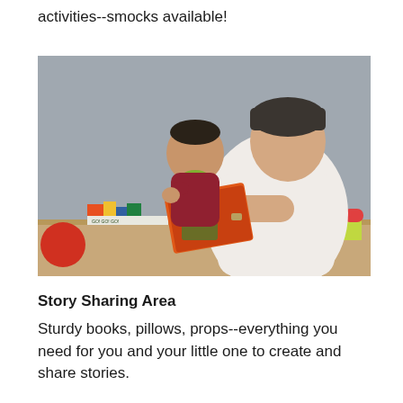activities--smocks available!
[Figure (photo): A man sitting and reading a colorful picture book to a toddler wearing a green bib and red long-sleeve shirt. They are in a children's reading area with books on a low shelf behind them.]
Story Sharing Area
Sturdy books, pillows, props--everything you need for you and your little one to create and share stories.